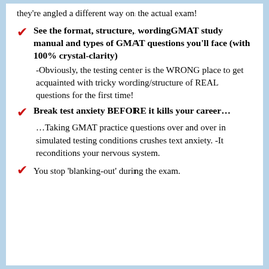they're angled a different way on the actual exam!
See the format, structure, wordingGMAT study manual and types of GMAT questions you'll face (with 100% crystal-clarity)
-Obviously, the testing center is the WRONG place to get acquainted with tricky wording/structure of REAL questions for the first time!
Break test anxiety BEFORE it kills your career…
…Taking GMAT practice questions over and over in simulated testing conditions crushes text anxiety. -It reconditions your nervous system.
You stop 'blanking-out' during the exam.